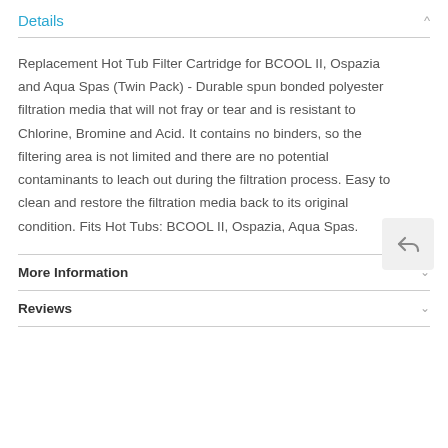Details
Replacement Hot Tub Filter Cartridge for BCOOL II, Ospazia and Aqua Spas (Twin Pack) - Durable spun bonded polyester filtration media that will not fray or tear and is resistant to Chlorine, Bromine and Acid. It contains no binders, so the filtering area is not limited and there are no potential contaminants to leach out during the filtration process. Easy to clean and restore the filtration media back to its original condition. Fits Hot Tubs: BCOOL II, Ospazia, Aqua Spas.
More Information
Reviews